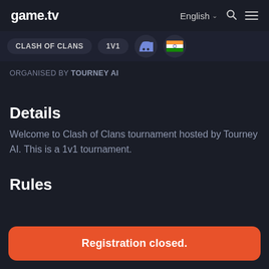game.tv — English — Search — Menu
[Figure (screenshot): Tags row with CLASH OF CLANS pill, 1V1 pill, Discord icon, India flag icon]
ORGANISED BY TOURNEY AI
Details
Welcome to Clash of Clans tournament hosted by Tourney AI. This is a 1v1 tournament.
Rules
Registration closed.